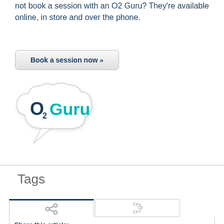not book a session with an O2 Guru? They’re available online, in store and over the phone.
[Figure (illustration): Button styled element reading 'Book a session now »']
[Figure (logo): O2 Guru logo inside a speech-bubble cloud shape. 'O2' in dark navy and 'Guru' in teal/cyan text.]
Tags
[Figure (screenshot): Tab interface with share icon tab (active, dark top border) and a related/tree icon tab (inactive). Below shows 'Share this article:' label.]